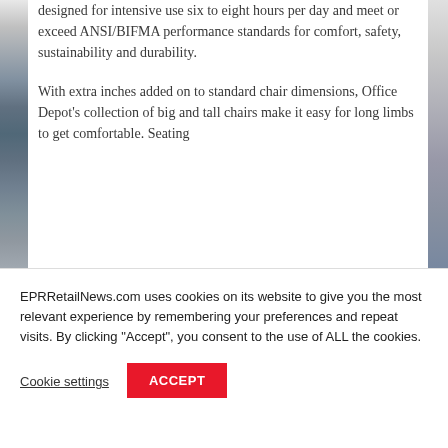designed for intensive use six to eight hours per day and meet or exceed ANSI/BIFMA performance standards for comfort, safety, sustainability and durability.
With extra inches added on to standard chair dimensions, Office Depot's collection of big and tall chairs make it easy for long limbs to get comfortable. Seating
EPRRetailNews.com uses cookies on its website to give you the most relevant experience by remembering your preferences and repeat visits. By clicking "Accept", you consent to the use of ALL the cookies.
Cookie settings
ACCEPT